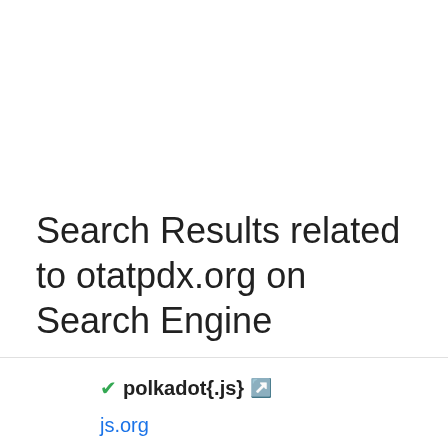Search Results related to otatpdx.org on Search Engine
✓polkadot{.js} 🔗
js.org
https://polkadot.js.org/
DA: 70  PA: 75  MOZ Rank: 60